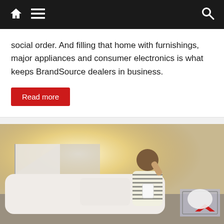Navigation header with home, menu, and search icons
social order. And filling that home with furnishings, major appliances and consumer electronics is what keeps BrandSource dealers in business.
Read more
[Figure (photo): A man standing next to a white car with the trunk open, holding a paper and touching his head, with a shopping cart visible in the foreground]